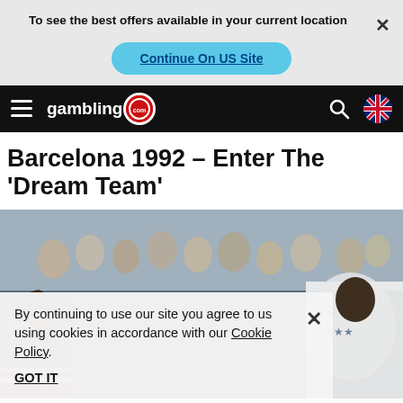To see the best offers available in your current location
Continue On US Site
gambling .com
Barcelona 1992 – Enter The 'Dream Team'
[Figure (photo): Basketball player in USA uniform celebrating at 1992 Barcelona Olympics with crowd in background]
By continuing to use our site you agree to us using cookies in accordance with our Cookie Policy.
GOT IT